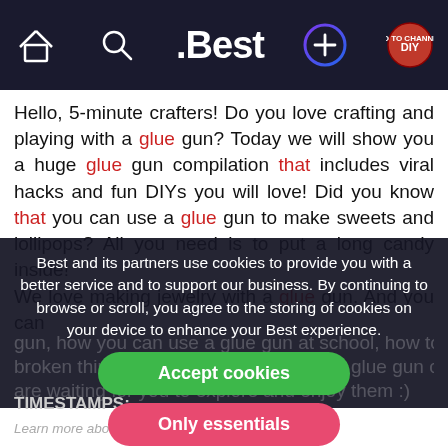[Figure (screenshot): Navigation bar of .Best website with home icon, search icon, .Best logo, gradient circle plus button, and DIY badge icon on dark background]
Hello, 5-minute crafters! Do you love crafting and playing with a glue gun? Today we will show you a huge glue gun compilation that includes viral hacks and fun DIYs you will love! Did you know that you can use a glue gun to make sweets and lollipops? All you need is to put a long candy inside!
We love making jewelry with a glue gun. And you can
Best and its partners use cookies to provide you with a better service and to support our business. By continuing to browse or scroll, you agree to the storing of cookies on your device to enhance your Best experience.
Accept cookies
Only essentials
TIMESTAMPS:
Learn more about our privacy policy.